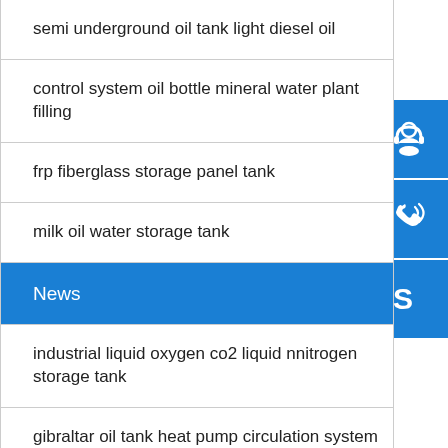semi underground oil tank light diesel oil
control system oil bottle mineral water plant filling
frp fiberglass storage panel tank
milk oil water storage tank
News
industrial liquid oxygen co2 liquid nnitrogen storage tank
gibraltar oil tank heat pump circulation system size
making tank based under sealant